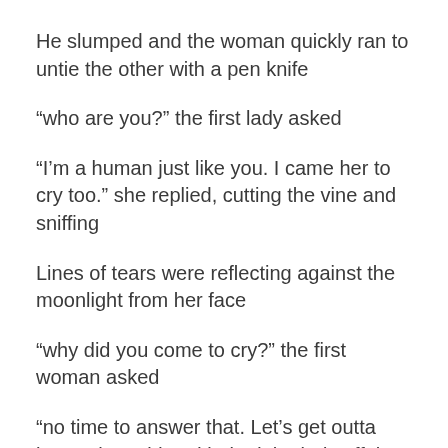He slumped and the woman quickly ran to untie the other with a pen knife
“who are you?” the first lady asked
“I’m a human just like you. I came her to cry too.” she replied, cutting the vine and sniffing
Lines of tears were reflecting against the moonlight from her face
“why did you come to cry?” the first woman asked
“no time to answer that. Let’s get outta here” she said and jerked the lady off the